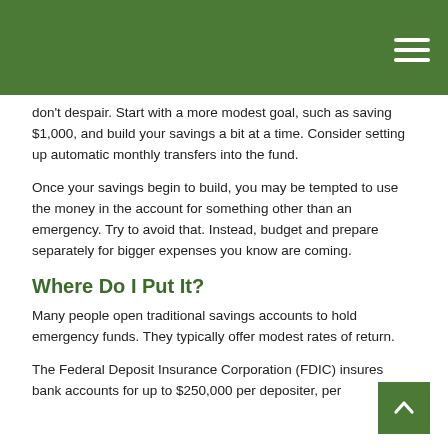don't despair. Start with a more modest goal, such as saving $1,000, and build your savings a bit at a time. Consider setting up automatic monthly transfers into the fund.
Once your savings begin to build, you may be tempted to use the money in the account for something other than an emergency. Try to avoid that. Instead, budget and prepare separately for bigger expenses you know are coming.
Where Do I Put It?
Many people open traditional savings accounts to hold emergency funds. They typically offer modest rates of return.
The Federal Deposit Insurance Corporation (FDIC) insures bank accounts for up to $250,000 per depositer, per